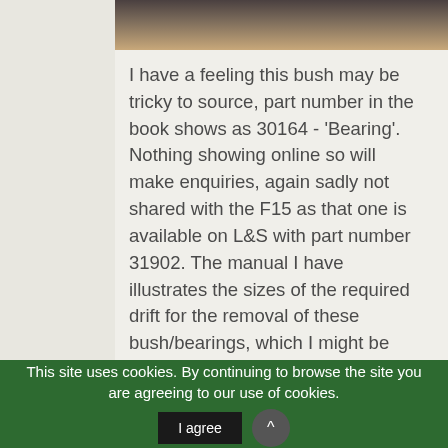[Figure (photo): Partial photo visible at top of content area, showing dark hair and skin tones - appears to be a person's head/hair]
I have a feeling this bush may be tricky to source, part number in the book shows as 30164 - 'Bearing'. Nothing showing online so will make enquiries, again sadly not shared with the F15 as that one is available on L&S with part number 31902. The manual I have illustrates the sizes of the required drift for the removal of these bush/bearings, which I might be able to fabricate, just depends if the bush is available anywhere.
This site uses cookies. By continuing to browse the site you are agreeing to our use of cookies. I agree ^